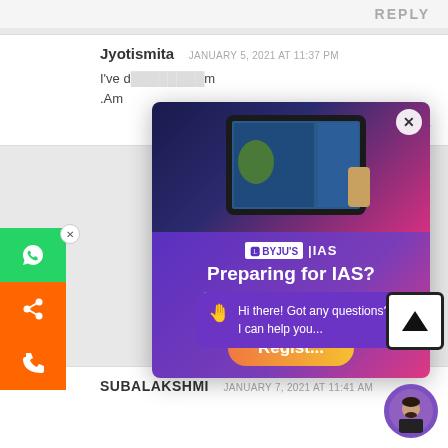REPLY
Jyotismita   JANUARY 5, 2021 AT 11:37 PM
I've d...m .Am
[Figure (screenshot): BYJU'S IAS popup advertisement showing a student watching video on tablet, with text 'Preparing for IAS? 100+ hours of Free Prep Material on History, Polity & more!' and a Register button]
Hi there! Got any questions? I can help you...
SUBALAKSHMI   JANUARY 7, 2021 AT 11:41 AM